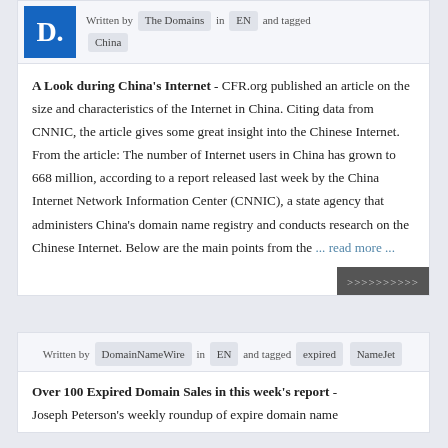Written by The Domains in EN and tagged China
A Look during China's Internet - CFR.org published an article on the size and characteristics of the Internet in China. Citing data from CNNIC, the article gives some great insight into the Chinese Internet. From the article: The number of Internet users in China has grown to 668 million, according to a report released last week by the China Internet Network Information Center (CNNIC), a state agency that administers China's domain name registry and conducts research on the Chinese Internet. Below are the main points from the ... read more ...
Written by DomainNameWire in EN and tagged expired NameJet
Over 100 Expired Domain Sales in this week's report - Joseph Peterson's weekly roundup of expire domain name